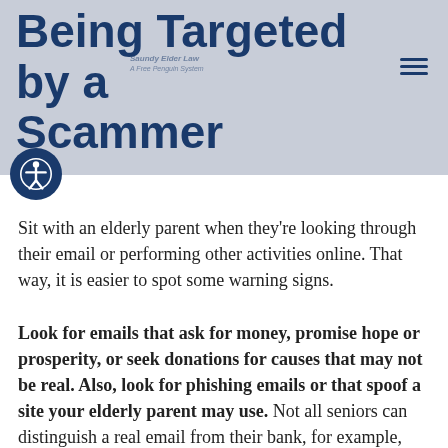Being Targeted by a Scammer
Sit with an elderly parent when they're looking through their email or performing other activities online. That way, it is easier to spot some warning signs.
Look for emails that ask for money, promise hope or prosperity, or seek donations for causes that may not be real. Also, look for phishing emails or that spoof a site your elderly parent may use. Not all seniors can distinguish a real email from their bank, for example, from a fake one sent by a scammer trying to get their financial information.
Also, look for social media interactions because elderly people who use social media are often targeted. For example, they may get friend requests from people